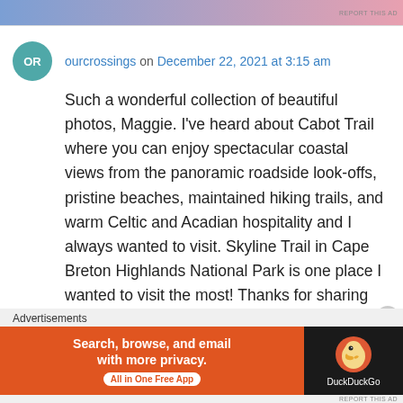[Figure (other): Top advertisement banner with gradient background (blue to pink)]
ourcrossings on December 22, 2021 at 3:15 am
Such a wonderful collection of beautiful photos, Maggie. I've heard about Cabot Trail where you can enjoy spectacular coastal views from the panoramic roadside look-offs, pristine beaches, maintained hiking trails, and warm Celtic and Acadian hospitality and I always wanted to visit. Skyline Trail in Cape Breton Highlands National Park is one place I wanted to visit the most! Thanks for sharing and have a good day 🙂 Aiva
Advertisements
[Figure (other): DuckDuckGo advertisement banner: Search, browse, and email with more privacy. All in One Free App.]